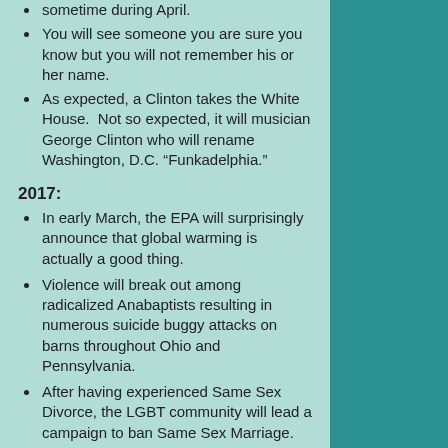sometime during April.
You will see someone you are sure you know but you will not remember his or her name.
As expected, a Clinton takes the White House.  Not so expected, it will musician George Clinton who will rename Washington, D.C. “Funkadelphia.”
2017:
In early March, the EPA will surprisingly announce that global warming is actually a good thing.
Violence will break out among radicalized Anabaptists resulting in numerous suicide buggy attacks on barns throughout Ohio and Pennsylvania.
After having experienced Same Sex Divorce, the LGBT community will lead a campaign to ban Same Sex Marriage.